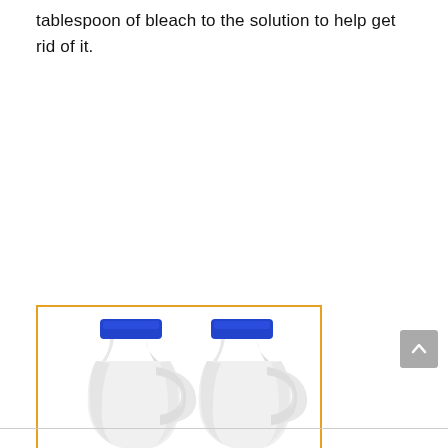tablespoon of bleach to the solution to help get rid of it.
[Figure (photo): Two white plastic bleach bottles with blue caps shown from the top portion, partially cropped, inside a box with an orange top border. The image continues beyond the bottom of the frame.]